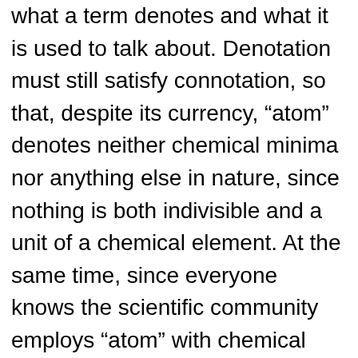what a term denotes and what it is used to talk about. Denotation must still satisfy connotation, so that, despite its currency, “atom” denotes neither chemical minima nor anything else in nature, since nothing is both indivisible and a unit of a chemical element. At the same time, since everyone knows the scientific community employs “atom” with chemical units in mind, the word directs attention to them. And since the scientific community does successfully talk about these units via “atom,” they are generously allowed to count as atoms.